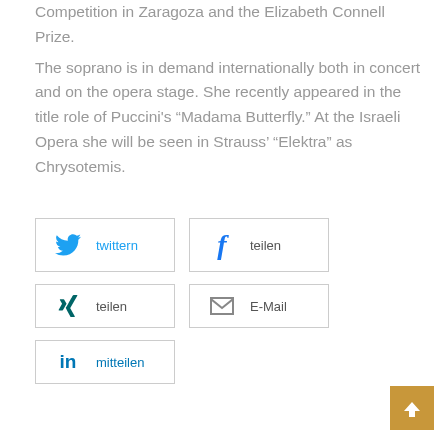Competition in Zaragoza and the Elizabeth Connell Prize. The soprano is in demand internationally both in concert and on the opera stage. She recently appeared in the title role of Puccini's “Madama Butterfly.” At the Israeli Opera she will be seen in Strauss’ “Elektra” as Chrysotemis.
twittern
teilen (Facebook)
teilen (XING)
E-Mail
mitteilen (LinkedIn)